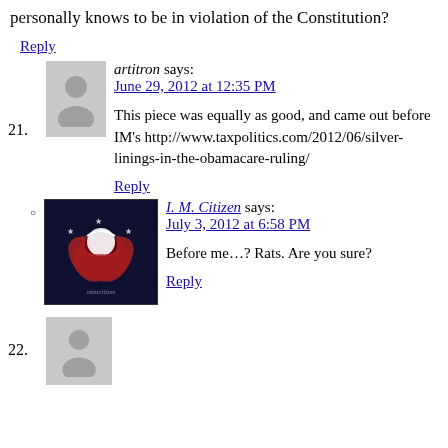personally knows to be in violation of the Constitution?
Reply
21. artitron says: June 29, 2012 at 12:35 PM
This piece was equally as good, and came out before IM's http://www.taxpolitics.com/2012/06/silver-linings-in-the-obamacare-ruling/
Reply
I. M. Citizen says: July 3, 2012 at 6:58 PM
Before me…? Rats. Are you sure?
Reply
22.